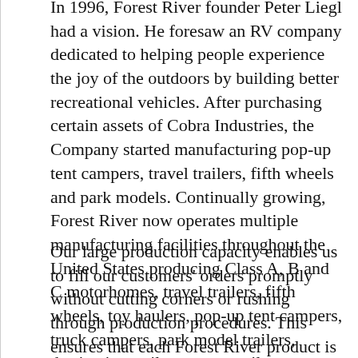In 1996, Forest River founder Peter Liegl had a vision. He foresaw an RV company dedicated to helping people experience the joy of the outdoors by building better recreational vehicles. After purchasing certain assets of Cobra Industries, the Company started manufacturing pop-up tent campers, travel trailers, fifth wheels and park models. Continually growing, Forest River now operates multiple manufacturing facilities throughout the United States producing Class A, B and C motorhomes, travel trailers, fifth wheels, toy haulers, pop-up tent campers, truck campers, park model trailers, destination trailers, cargo trailers, commercial vehicles, buses, pontoons, and mobile restroom trailers.
Our large production capacity enables us to fill our customers' orders promptly without cutting corners or rushing through production procedures. This ensures that each Forest River product is conscientiously built and undergoes thorough, detailed inspection before it's delivered to the customer. This means that the...